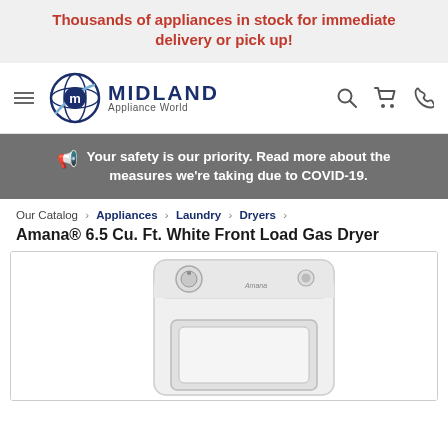Thousands of appliances in stock for immediate delivery or pick up!
[Figure (logo): Midland Appliance World logo with globe icon, hamburger menu, search, cart, and phone icons]
🔊 Your safety is our priority. Read more about the measures we're taking due to COVID-19.
Our Catalog › Appliances › Laundry › Dryers ›
Amana® 6.5 Cu. Ft. White Front Load Gas Dryer
[Figure (photo): White Amana front-load gas dryer with two control knobs on top panel]